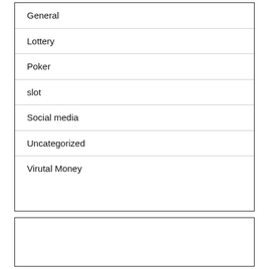General
Lottery
Poker
slot
Social media
Uncategorized
Virutal Money